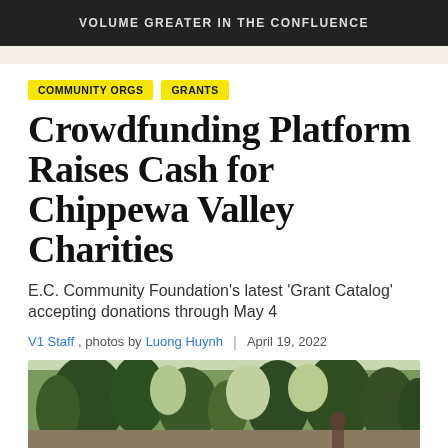VOLUME GREATER IN THE CONFLUENCE
COMMUNITY ORGS
GRANTS
Crowdfunding Platform Raises Cash for Chippewa Valley Charities
E.C. Community Foundation’s latest ‘Grant Catalog’ accepting donations through May 4
V1 Staff, photos by Luong Huynh | April 19, 2022
[Figure (photo): Outdoor photo showing trees and a person in the background, taken in a wooded area during late winter/early spring]